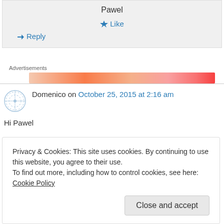Pawel
★ Like
↳ Reply
Advertisements
[Figure (other): Advertisement banner with orange gradient colors]
Domenico on October 25, 2015 at 2:16 am
Hi Pawel
Privacy & Cookies: This site uses cookies. By continuing to use this website, you agree to their use.
To find out more, including how to control cookies, see here: Cookie Policy
Close and accept